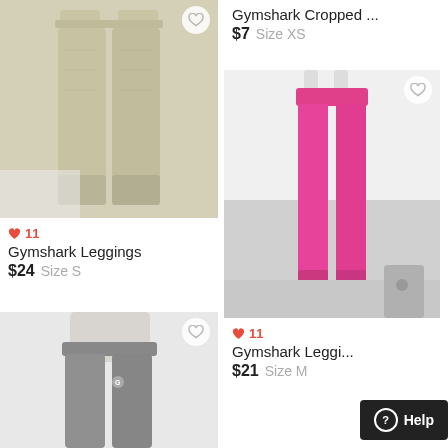[Figure (photo): Beige/khaki Gymshark leggings laid flat on white surface]
♥ 11
Gymshark Leggings
$24  Size S
[Figure (photo): Gray Gymshark leggings on model, cropped view]
Gymshark Cropped ...
$7  Size XS
[Figure (photo): Hot pink Gymshark leggings hanging in kitchen]
♥ 11
Gymshark Leggi...
$21  Size M